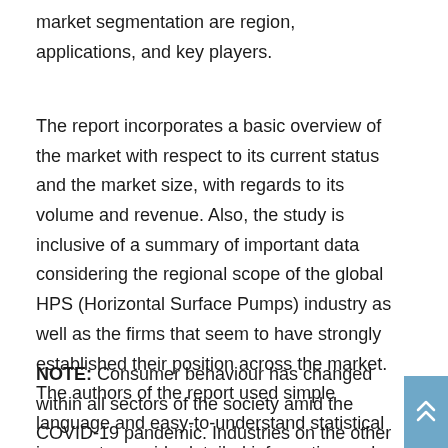market segmentation are region, applications, and key players.
The report incorporates a basic overview of the market with respect to its current status and the market size, with regards to its volume and revenue. Also, the study is inclusive of a summary of important data considering the regional scope of the global HPS (Horizontal Surface Pumps) industry as well as the firms that seem to have strongly established their position across the market. The authors of the report used simple language and easy-to-understand statistical images to provide detailed information and data on the global market.
NOTE: Consumer behaviour has changed within all sectors of the society amid the COVID-19 pandemic. Industries on the other hand will have to restructure their strategies in